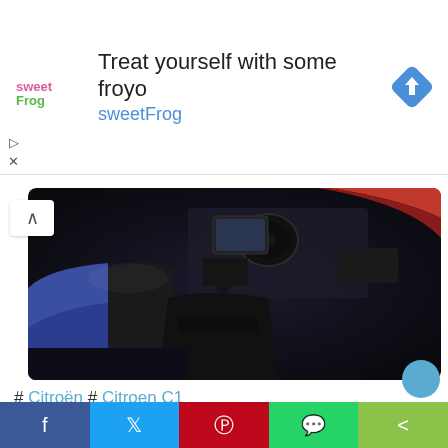[Figure (screenshot): SweetFrog advertisement banner with logo, text 'Treat yourself with some froyo' and 'sweetFrog', and a Google Maps-style navigation icon]
[Figure (photo): Car interior photo showing Citroën C1 JCC+ interior with blue seats, gear shift, steering wheel, and red trim accents, dark ambient lighting]
# Citroën # Citroen C1
This third creative and artistic meeting between two French creators, Citroën and Jean-Charles de Castelbajac, gave birth to a very attractive C1 JCC +. it is an energetic...read more